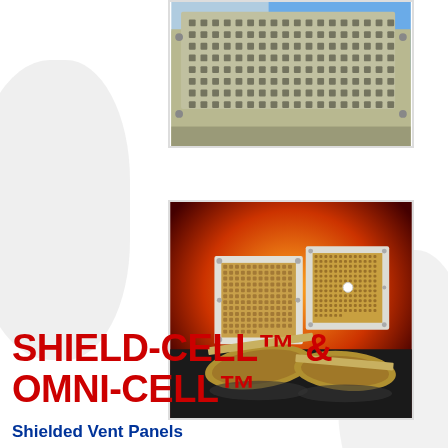[Figure (photo): Photograph of a metallic shielded vent panel with honeycomb/perforated mesh pattern, light blue sky visible through the vents, shown at an angle. Panel has multiple mounting holes around the border.]
[Figure (photo): Photograph of two OMNI-CELL shielded vent panels standing on display against an orange/red gradient background. The panels are square with white metallic frames and a gold/brown honeycomb mesh interior. One panel has a small white connector in the center.]
SHIELD-CELL™ & OMNI-CELL™
Shielded Vent Panels